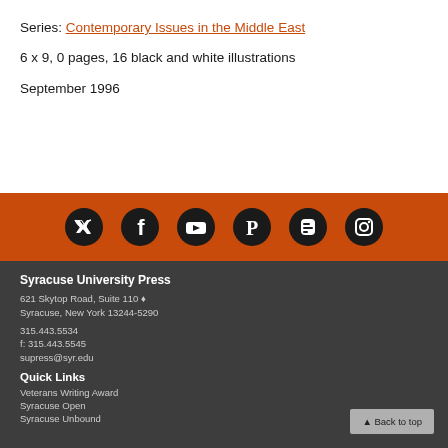Series: Contemporary Issues in the Middle East
6 x 9, 0 pages, 16 black and white illustrations
September 1996
[Figure (infographic): Orange bar with six social media icons (Twitter, Facebook, YouTube, Pinterest, Blogger, Instagram) as white symbols on black circular backgrounds]
Syracuse University Press
621 Skytop Road, Suite 110
Syracuse, New York 13244-5290
315.443.5534
f: 315.443.5545
supress@syr.edu
Quick Links
Veterans Writing Award
Syracuse Open
Syracuse Unbound